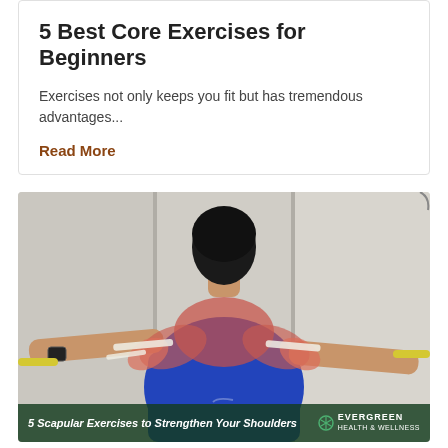5 Best Core Exercises for Beginners
Exercises not only keeps you fit but has tremendous advantages...
Read More
[Figure (photo): Person seen from behind with arms stretched out to sides holding resistance bands, with muscle anatomy overlay on back and arms. Wearing blue shirt.]
5 Scapular Exercises to Strengthen Your Shoulders